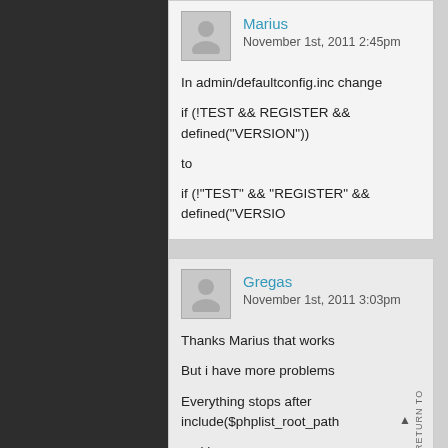Marius
November 1st, 2011 2:45pm
In admin/defaultconfig.inc change
if (!TEST && REGISTER && defined("VERSION"))
to
if (!"TEST" && "REGISTER" && defined("VERSION")
Gregas
November 1st, 2011 3:03pm
Thanks Marius that works
But i have more problems
Everything stops after include($phplist_root_path
and i see no errors
If i comment this line i can call user_add function...